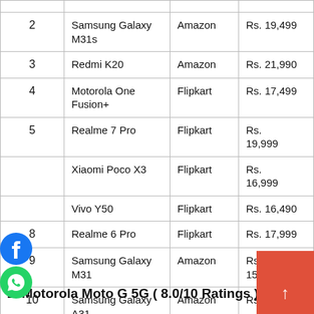| # | Phone | Store | Price |
| --- | --- | --- | --- |
| 2 | Samsung Galaxy M31s | Amazon | Rs. 19,499 |
| 3 | Redmi K20 | Amazon | Rs. 21,990 |
| 4 | Motorola One Fusion+ | Flipkart | Rs. 17,499 |
| 5 | Realme 7 Pro | Flipkart | Rs. 19,999 |
| 6 | Xiaomi Poco X3 | Flipkart | Rs. 16,999 |
| 7 | Vivo Y50 | Flipkart | Rs. 16,490 |
| 8 | Realme 6 Pro | Flipkart | Rs. 17,999 |
| 9 | Samsung Galaxy M31 | Amazon | Rs. 15,990 |
| 10 | Samsung Galaxy A31 | Amazon | Rs. 17,999 |
1. Motorola Moto G 5G ( 8.0/10 Ratings )